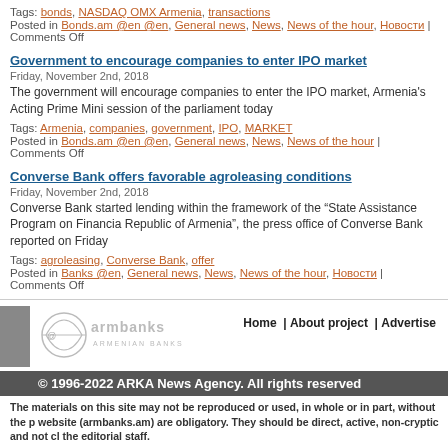Tags: bonds, NASDAQ OMX Armenia, transactions
Posted in Bonds.am @en @en, General news, News, News of the hour, Новости | Comments Off
Government to encourage companies to enter IPO market
Friday, November 2nd, 2018
The government will encourage companies to enter the IPO market, Armenia's Acting Prime Mini... session of the parliament today
Tags: Armenia, companies, government, IPO, MARKET
Posted in Bonds.am @en @en, General news, News, News of the hour | Comments Off
Converse Bank offers favorable agroleasing conditions
Friday, November 2nd, 2018
Converse Bank started lending within the framework of the "State Assistance Program on Financia... Republic of Armenia", the press office of Converse Bank reported on Friday
Tags: agroleasing, Converse Bank, offer
Posted in Banks @en, General news, News, News of the hour, Новости | Comments Off
[Figure (logo): ArmBanks logo - Armenian Banks text with circular emblem]
Home | About project | Advertise
© 1996-2022 ARKA News Agency. All rights reserved
The materials on this site may not be reproduced or used, in whole or in part, without the p... website (armbanks.am) are obligatory. They should be direct, active, non-cryptic and not cl... the editorial staff.